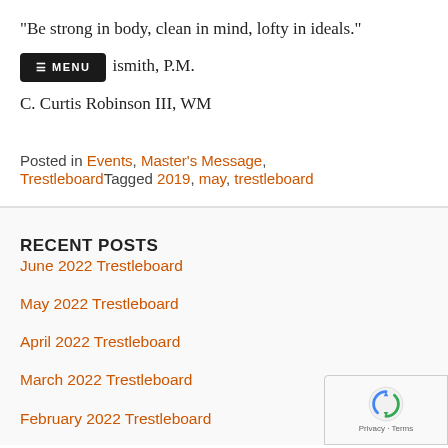“Be strong in body, clean in mind, lofty in ideals.”
≡ MENU  ...ismith, P.M.
C. Curtis Robinson III, WM
Posted in Events, Master’s Message, TrestleboardTagged 2019, may, trestleboard
RECENT POSTS
June 2022 Trestleboard
May 2022 Trestleboard
April 2022 Trestleboard
March 2022 Trestleboard
February 2022 Trestleboard